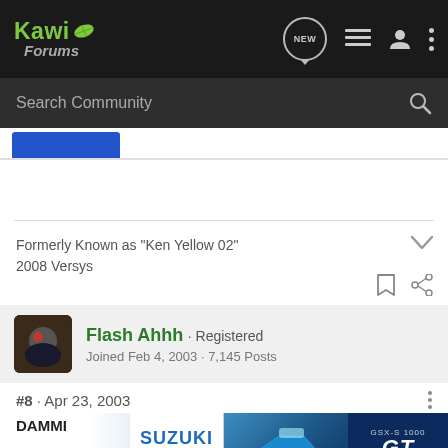Kawi Forums
Search Community
Formerly Known as "Ken Yellow 02"
2008 Versys
Flash Ahhh · Registered
Joined Feb 4, 2003 · 7,145 Posts
#8 · Apr 23, 2003
DAMMI
[Figure (photo): Suzuki GSX-S1000GT advertisement banner showing motorcycle and rider with text 'GSX-S1000 GT SEE IT NOW']